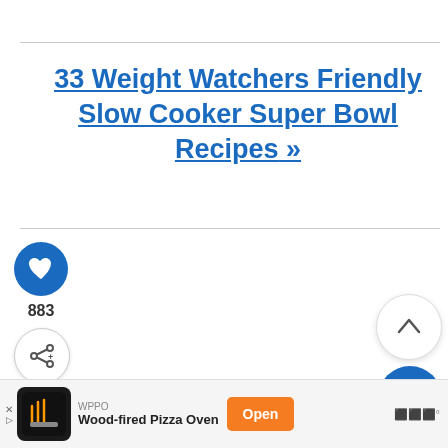33 Weight Watchers Friendly Slow Cooker Super Bowl Recipes »
883
WHAT'S NEXT → Skinny Slow Cooker...
NTS
WPPO Wood-fired Pizza Oven
[Figure (screenshot): Web page UI elements: heart/like button (blue circle), count 883, share button, up-arrow button, search button (blue circle), What's Next navigation bar with food image and partial text, advertisement banner for WPPO Wood-fired Pizza Oven with orange Open button]